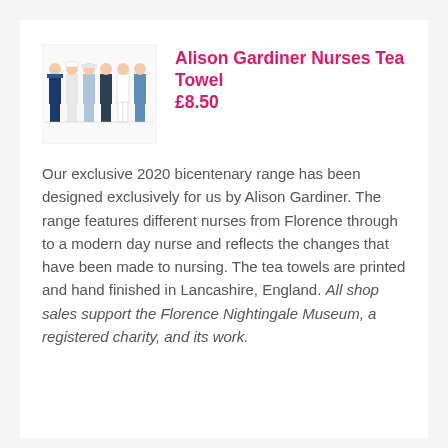[Figure (illustration): Product photo showing illustrated nurse figures in different historical uniforms standing in a row on a white background]
Alison Gardiner Nurses Tea Towel £8.50
Our exclusive 2020 bicentenary range has been designed exclusively for us by Alison Gardiner. The range features different nurses from Florence through to a modern day nurse and reflects the changes that have been made to nursing. The tea towels are printed and hand finished in Lancashire, England. All shop sales support the Florence Nightingale Museum, a registered charity, and its work.